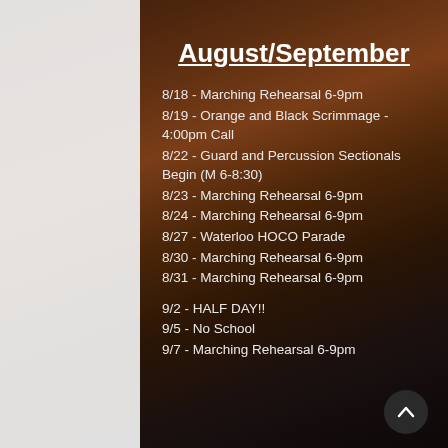August/September
8/18 - Marching Rehearsal 6-9pm
8/19 - Orange and Black Scrimmage - 4:00pm Call
8/22 - Guard and Percussion Sectionals Begin (M 6-8:30)
8/23 - Marching Rehearsal 6-9pm
8/24 - Marching Rehearsal 6-9pm
8/27 - Waterloo HOCO Parade
8/30 - Marching Rehearsal 6-9pm
8/31 - Marching Rehearsal 6-9pm
9/2 - HALF DAY!!
9/5 - No School
9/7 - Marching Rehearsal 6-9pm